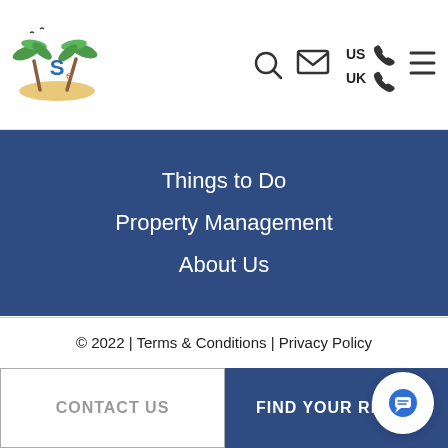[Figure (logo): Beach/tropical logo with palm trees and 'S' letter]
[Figure (infographic): Header nav icons: search, email, US phone, UK phone, hamburger menu]
Things to Do
Property Management
About Us
[Figure (infographic): Social media icons: Facebook and Instagram circles]
© 2022 | Terms & Conditions | Privacy Policy
CONTACT US
FIND YOUR RENTA
[Figure (infographic): Chat bubble icon button]